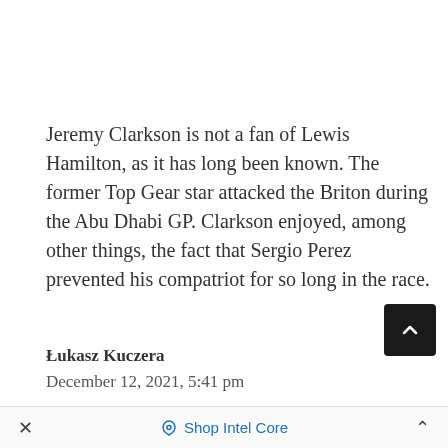Jeremy Clarkson is not a fan of Lewis Hamilton, as it has long been known. The former Top Gear star attacked the Briton during the Abu Dhabi GP. Clarkson enjoyed, among other things, the fact that Sergio Perez prevented his compatriot for so long in the race.
Łukasz Kuczera
December 12, 2021, 5:41 pm
[Figure (photo): Broken image icon with label 'Jeremy Clarkson']
× Shop Intel Core ^